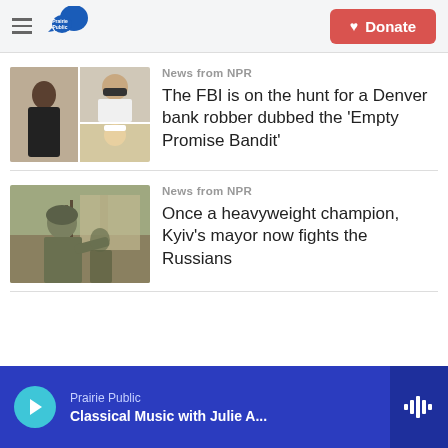Prairie Public — Donate
News from NPR
The FBI is on the hunt for a Denver bank robber dubbed the 'Empty Promise Bandit'
News from NPR
Once a heavyweight champion, Kyiv's mayor now fights the Russians
Prairie Public — Classical Music with Julie A...